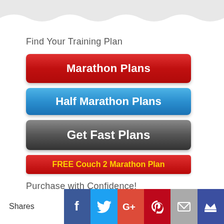Find Your Training Plan
[Figure (infographic): Red button labeled Marathon Plans]
[Figure (infographic): Blue button labeled Half Marathon Plans]
[Figure (infographic): Dark gray button labeled Get Fast Plans]
[Figure (infographic): Red button with yellow text: FREE Couch 2 Marathon Plan]
Purchase with Confidence!
[Figure (infographic): Social share bar with Facebook, Twitter, Google+, Pinterest, Email, and Crown icons]